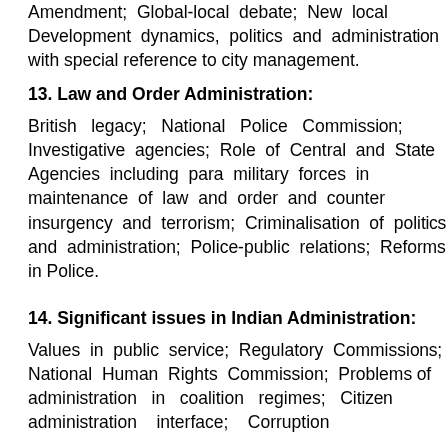Amendment; Global-local debate; New local Development dynamics, politics and administration with special reference to city management.
13. Law and Order Administration:
British legacy; National Police Commission; Investigative agencies; Role of Central and State Agencies including para military forces in maintenance of law and order and counter insurgency and terrorism; Criminalisation of politics and administration; Police-public relations; Reforms in Police.
14. Significant issues in Indian Administration:
Values in public service; Regulatory Commissions; National Human Rights Commission; Problems of administration in coalition regimes; Citizen administration interface; Corruption